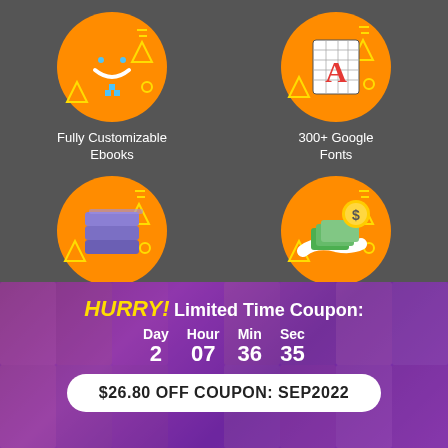[Figure (illustration): Grid of 4 feature icons on dark gray background: orange circles with decorative geometric elements. Top-left: vector design tool icon (Fully Customizable Ebooks). Top-right: font/letter A icon (300+ Google Fonts). Bottom-left: stacked layers icon (1000+ Stock Library). Bottom-right: money/hand icon (Sell Designs For Profit).]
Fully Customizable Ebooks
300+ Google Fonts
1000+ Stock Library
Sell Designs For Profit
HURRY! Limited Time Coupon:
Day 2   Hour 07   Min 36   Sec 35
$26.80 OFF COUPON: SEP2022